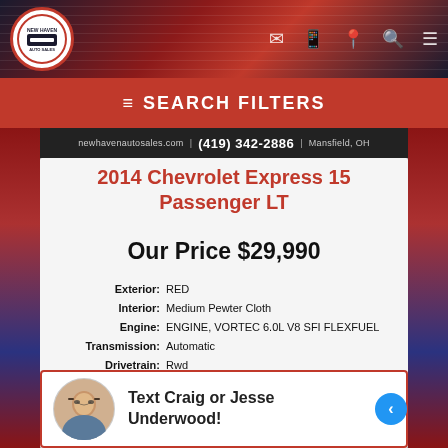[Figure (screenshot): Website header with US flag/crackle background, dealer logo circle, and navigation icons]
SEARCH FILTERS
newhavenautosales.com | (419) 342-2886 | Mansfield, OH
2014 Chevrolet Express 15 Passenger LT
Our Price $29,990
| Attribute | Value |
| --- | --- |
| Exterior: | RED |
| Interior: | Medium Pewter Cloth |
| Engine: | ENGINE, VORTEC 6.0L V8 SFI FLEXFUEL |
| Transmission: | Automatic |
| Drivetrain: | Rwd |
| Mileage: | 77,225 |
| MPG (City/Hwy): | 11 / 16 |
Text Craig or Jesse Underwood!